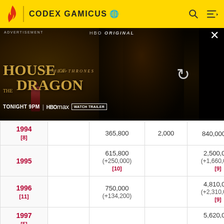CODEX GAMICUS
[Figure (screenshot): Advertisement banner for House of the Dragon HBO Max show, showing dragon imagery with text: GAME OF THRONES, HOUSE OF THE DRAGON, TONIGHT 9PM | HBO max | WATCH TRAILER. HBO ORIGINAL label at top. X close button. Reload icon on right side.]
| Year |  | Unnamed col | Unnamed col 2 | Unnamed col 3 |
| --- | --- | --- | --- | --- |
| 1994 [8] |  | 365,800 | 2,000 | 840,000 [9] |
| 1995 |  | 615,800
(+250,000)
[10] |  | 2,500,000
(+1,660,000)
[9] |
| 1996 [11] |  | 750,000
(+134,200) |  | 4,810,000
(+2,310,000)
[9] |
| 1997 [5] |  |  |  | 5,620,000 |